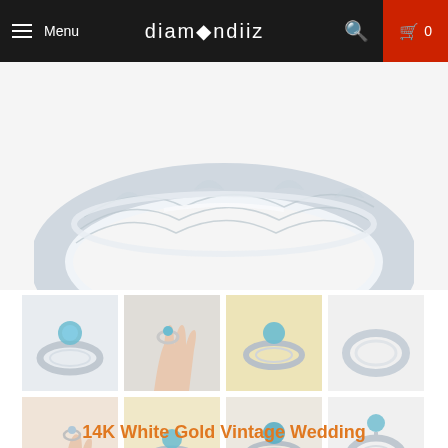Menu | diamondiiz | Search | Cart 0
[Figure (photo): Close-up hero image of a white gold vintage ring with engraved filigree pattern and blue gemstone, shown from above on white background]
[Figure (photo): 12 thumbnail product photos of a 14K White Gold Vintage Wedding Ring with blue aquamarine stone, shown from various angles including on hand, in box, and detail shots]
14K White Gold Vintage Wedding